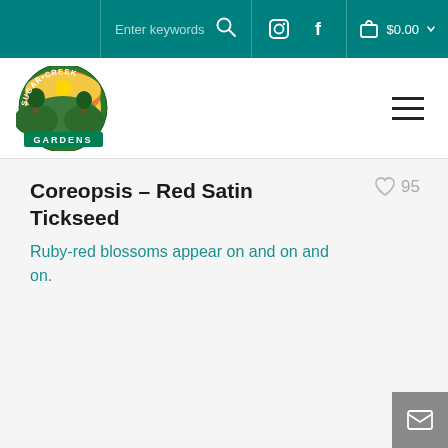Sugar Creek Gardens website header navigation with search, social icons, and cart showing $0.00
[Figure (logo): Sugar Creek Gardens circular logo with colorful garden scene and text GARDENS on green banner]
Coreopsis – Red Satin Tickseed
Ruby-red blossoms appear on and on and on.
JOIN OUR GARDENING COMMUNITY